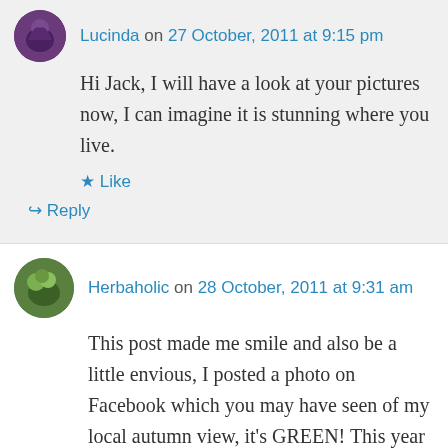Lucinda on 27 October, 2011 at 9:15 pm
Hi Jack, I will have a look at your pictures now, I can imagine it is stunning where you live.
★ Like
↳ Reply
Herbaholic on 28 October, 2011 at 9:31 am
This post made me smile and also be a little envious, I posted a photo on Facebook which you may have seen of my local autumn view, it's GREEN! This year despite it being late October autumn hasn't arrived as far as the 'fire leaves crackling to life' goes. This morning it's misty and